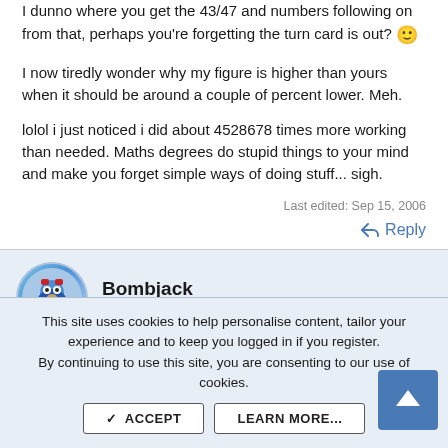I dunno where you get the 43/47 and numbers following on from that, perhaps you're forgetting the turn card is out? 🙂
I now tiredly wonder why my figure is higher than yours when it should be around a couple of percent lower. Meh.
lolol i just noticed i did about 4528678 times more working than needed. Maths degrees do stupid things to your mind and make you forget simple ways of doing stuff... sigh.
Last edited: Sep 15, 2006
↩ Reply
Bombjack
Legend
This site uses cookies to help personalise content, tailor your experience and to keep you logged in if you register.
By continuing to use this site, you are consenting to our use of cookies.